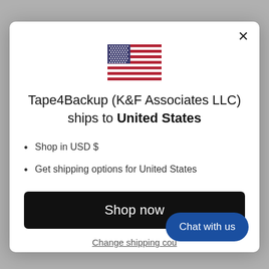[Figure (illustration): US flag icon centered at top of modal dialog]
Tape4Backup (K&F Associates LLC) ships to United States
Shop in USD $
Get shipping options for United States
Shop now
Change shipping cou...
Chat with us